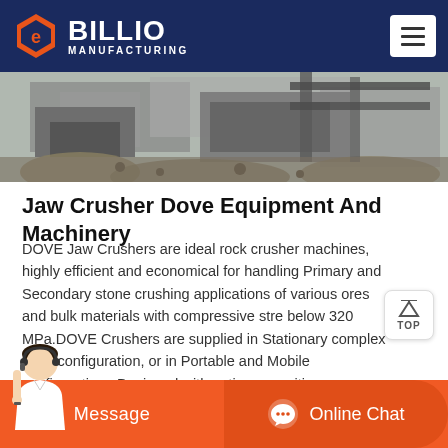BILLIO MANUFACTURING
[Figure (photo): Industrial jaw crusher machine at a quarry/construction site, showing stone crushing equipment with rubble and concrete structure in the background.]
Jaw Crusher Dove Equipment And Machinery
DOVE Jaw Crushers are ideal rock crusher machines, highly efficient and economical for handling Primary and Secondary stone crushing applications of various ores and bulk materials with compressive stre below 320 MPa.DOVE Crushers are supplied in Stationary complex plant configuration, or in Portable and Mobile configuration.. Designed with optimum cavities
[Figure (illustration): Customer service agent photo at bottom left, with orange footer bar showing Message and Online Chat options]
Message    Online Chat